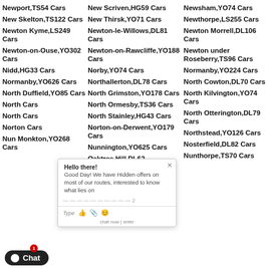Newport,TS54 Cars
New Scriven,HG59 Cars
Newsham,YO74 Cars
New Skelton,TS122 Cars
New Thirsk,YO71 Cars
Newthorpe,LS255 Cars
Newton Kyme,LS249 Cars
Newton-le-Willows,DL81 Cars
Newton Morrell,DL106 Cars
Newton-on-Ouse,YO302 Cars
Newton-on-Rawcliffe,YO188 Cars
Newton under Roseberry,TS96 Cars
Nidd,HG33 Cars
Norby,YO74 Cars
Normanby,YO224 Cars
Normanby,YO626 Cars
Northallerton,DL78 Cars
North Cowton,DL70 Cars
North Duffield,YO85 Cars
North Grimston,YO178 Cars
North Kilvington,YO74 Cars
North Cars
North Ormesby,TS36 Cars
North Otterington,DL79 Cars
North Cars
North Stainley,HG43 Cars
Northstead,YO126 Cars
Norton Cars
Norton-on-Derwent,YO179 Cars
Nosterfield,DL82 Cars
Nun Monkton,YO268 Cars
Nunnington,YO625 Cars
Nunthorpe,TS70 Cars
Oaktree Hill,DL62